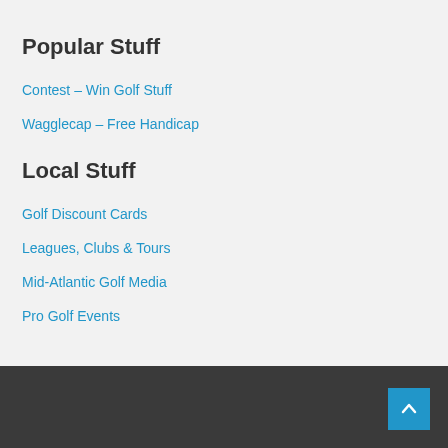Popular Stuff
Contest – Win Golf Stuff
Wagglecap – Free Handicap
Local Stuff
Golf Discount Cards
Leagues, Clubs & Tours
Mid-Atlantic Golf Media
Pro Golf Events